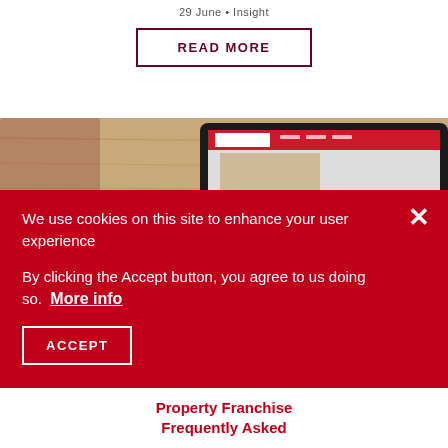29 June • Insight
READ MORE
[Figure (photo): A tablet device showing a real estate/property website on a wooden surface]
We use cookies on this site to enhance your user experience

By clicking the Accept button, you agree to us doing so.  More info
ACCEPT
Property Franchise Frequently Asked